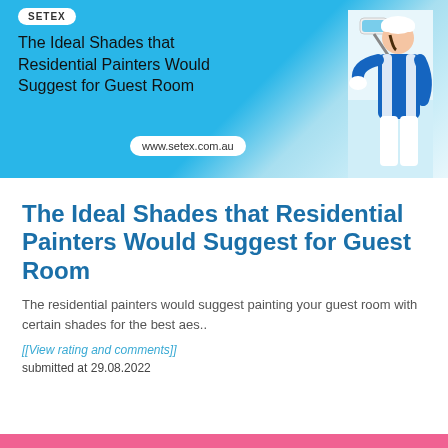[Figure (photo): Banner image with light blue background showing a painter in blue shirt painting a wall, with cursive text 'The Ideal Shades that Residential Painters Would Suggest for Guest Room' and website www.setex.com.au, and SETEX logo in top left.]
The Ideal Shades that Residential Painters Would Suggest for Guest Room
The residential painters would suggest painting your guest room with certain shades for the best aes..
[[View rating and comments]]
submitted at 29.08.2022